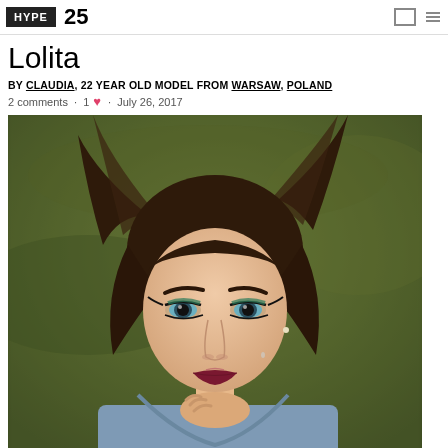HYPE 25
Lolita
BY CLAUDIA, 22 YEAR OLD MODEL FROM WARSAW, POLAND
2 comments · 1 ♥ · July 26, 2017
[Figure (photo): Portrait photo of a young woman with two high pigtails, wearing a denim jacket, with dramatic eye makeup, resting her chin on her hand against a blurred green background.]